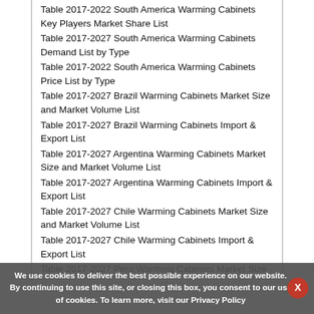Table 2017-2022 South America Warming Cabinets Key Players Market Share List
Table 2017-2027 South America Warming Cabinets Demand List by Type
Table 2017-2022 South America Warming Cabinets Price List by Type
Table 2017-2027 Brazil Warming Cabinets Market Size and Market Volume List
Table 2017-2027 Brazil Warming Cabinets Import & Export List
Table 2017-2027 Argentina Warming Cabinets Market Size and Market Volume List
Table 2017-2027 Argentina Warming Cabinets Import & Export List
Table 2017-2027 Chile Warming Cabinets Market Size and Market Volume List
Table 2017-2027 Chile Warming Cabinets Import & Export List
Table 2017-2027 Peru Warming Cabinets Market Size
We use cookies to deliver the best possible experience on our website. By continuing to use this site, or closing this box, you consent to our use of cookies. To learn more, visit our Privacy Policy